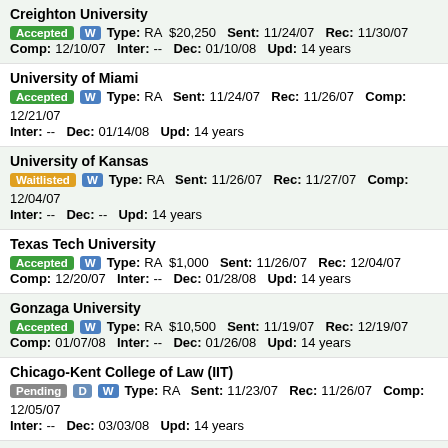Creighton University | Accepted W | Type: RA $20,250 Sent: 11/24/07 Rec: 11/30/07 Comp: 12/10/07 Inter: -- Dec: 01/10/08 Upd: 14 years
University of Miami | Accepted W | Type: RA Sent: 11/24/07 Rec: 11/26/07 Comp: 12/21/07 Inter: -- Dec: 01/14/08 Upd: 14 years
University of Kansas | Waitlisted W | Type: RA Sent: 11/26/07 Rec: 11/27/07 Comp: 12/04/07 Inter: -- Dec: -- Upd: 14 years
Texas Tech University | Accepted W | Type: RA $1,000 Sent: 11/26/07 Rec: 12/04/07 Comp: 12/20/07 Inter: -- Dec: 01/28/08 Upd: 14 years
Gonzaga University | Accepted W | Type: RA $10,500 Sent: 11/19/07 Rec: 12/19/07 Comp: 01/07/08 Inter: -- Dec: 01/26/08 Upd: 14 years
Chicago-Kent College of Law (IIT) | Pending D W | Type: RA Sent: 11/23/07 Rec: 11/26/07 Comp: 12/05/07 Inter: -- Dec: 03/03/08 Upd: 14 years
West Virginia University | Accepted D W | Type: RA Sent: 11/24/07 Rec: 12/12/07 ...